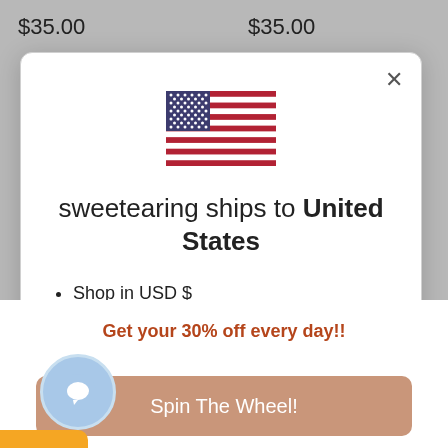$35.00
$35.00
[Figure (screenshot): Modal popup showing US flag, 'sweetearing ships to United States', bullet points about USD shopping and shipping options, and a blue button at the bottom]
sweetearing ships to United States
Shop in USD $
Get shipping options for United States
[Figure (illustration): Orange gift badge icon on left edge]
Get your 30% off every day!!
Spin The Wheel!